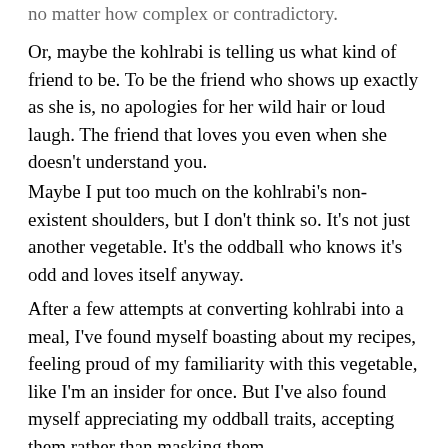no matter how complex or contradictory.
Or, maybe the kohlrabi is telling us what kind of friend to be. To be the friend who shows up exactly as she is, no apologies for her wild hair or loud laugh. The friend that loves you even when she doesn't understand you.
Maybe I put too much on the kohlrabi's non-existent shoulders, but I don't think so. It's not just another vegetable. It's the oddball who knows it's odd and loves itself anyway.
After a few attempts at converting kohlrabi into a meal, I've found myself boasting about my recipes, feeling proud of my familiarity with this vegetable, like I'm an insider for once. But I've also found myself appreciating my oddball traits, accepting them rather than masking them.